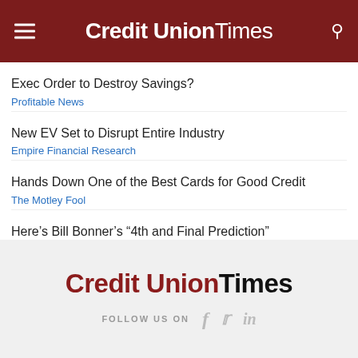Credit Union Times
Exec Order to Destroy Savings?
Profitable News
New EV Set to Disrupt Entire Industry
Empire Financial Research
Hands Down One of the Best Cards for Good Credit
The Motley Fool
Here’s Bill Bonner’s “4th and Final Prediction”
Credit Union Times
FOLLOW US ON